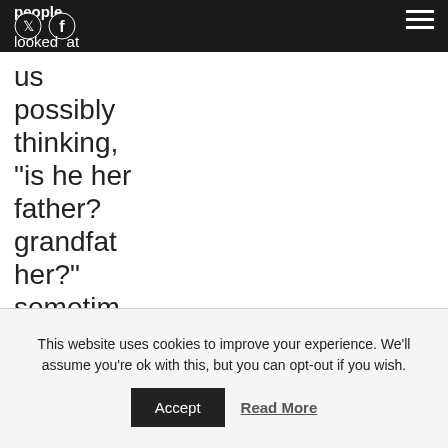people looked at us possibly thinking, “is he her father? grandfather?” sometimes we got stared at
people looked at us possibly thinking, “is he her father? grandfather?” sometimes we got stared at
This website uses cookies to improve your experience. We'll assume you're ok with this, but you can opt-out if you wish. Accept Read More